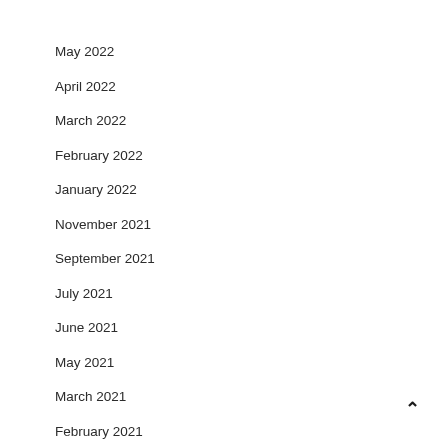May 2022
April 2022
March 2022
February 2022
January 2022
November 2021
September 2021
July 2021
June 2021
May 2021
March 2021
February 2021
November 2020
October 2020
September 2020